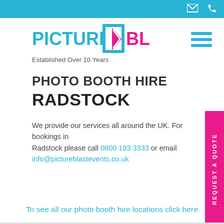Picture Blast - Established Over 10 Years
PHOTO BOOTH HIRE RADSTOCK
We provide our services all around the UK. For bookings in Radstock please call 0800 193 3333 or email info@pictureblastevents.co.uk
REQUEST A QUOTE
To see all our photo booth hire locations click here